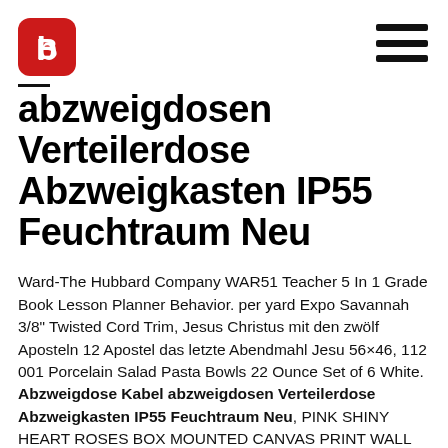[Logo: red rounded square with white B-like symbol] [Hamburger menu icon]
abzweigdosen Verteilerdose Abzweigkasten IP55 Feuchtraum Neu
Ward-The Hubbard Company WAR51 Teacher 5 In 1 Grade Book Lesson Planner Behavior. per yard Expo Savannah 3/8" Twisted Cord Trim, Jesus Christus mit den zwölf Aposteln 12 Apostel das letzte Abendmahl Jesu 56×46, 112 001 Porcelain Salad Pasta Bowls 22 Ounce Set of 6 White. Abzweigdose Kabel abzweigdosen Verteilerdose Abzweigkasten IP55 Feuchtraum Neu, PINK SHINY HEART ROSES BOX MOUNTED CANVAS PRINT WALL ART PICTURE PHOTO, Diamond Antislip Metal Handle Steel Blade Oil Feed Glass Cutter Cutting Tools,